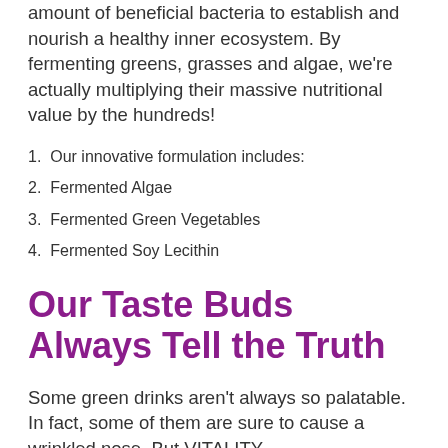amount of beneficial bacteria to establish and nourish a healthy inner ecosystem. By fermenting greens, grasses and algae, we're actually multiplying their massive nutritional value by the hundreds!
1. Our innovative formulation includes:
2. Fermented Algae
3. Fermented Green Vegetables
4. Fermented Soy Lecithin
Our Taste Buds Always Tell the Truth
Some green drinks aren't always so palatable. In fact, some of them are sure to cause a wrinkled nose. But VITALITY